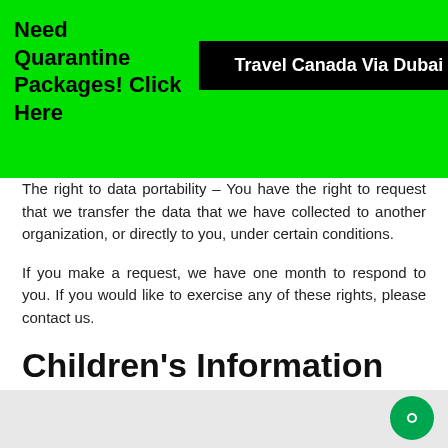[Figure (other): Green promotional banner with text 'Need Quarantine Packages! Click Here' and a black button reading 'Travel Canada Via Dubai' with a close X button]
The right to data portability – You have the right to request that we transfer the data that we have collected to another organization, or directly to you, under certain conditions.
If you make a request, we have one month to respond to you. If you would like to exercise any of these rights, please contact us.
Children's Information
Another part of our priority is adding protection for children while using the internet. We encourage parents and guardians to observe, participate in, and/or monitor and guide their online activity.
www.whitewhaleholiday.com does not knowingly collect any Personal Identifiable Information from children under the age of 13. If you think that your child provided this kind of information on our website, we strongly encourage you to contact us immediately and we will do our best efforts to promptly remove such information from our records.